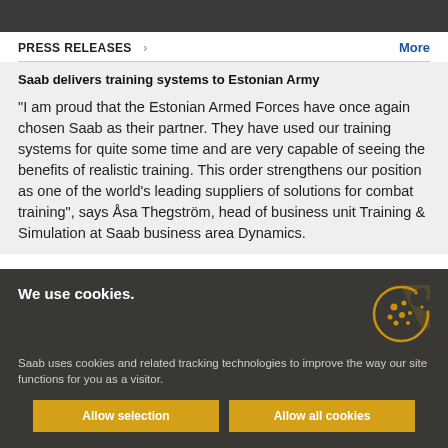PRESS RELEASES
Saab delivers training systems to Estonian Army
"I am proud that the Estonian Armed Forces have once again chosen Saab as their partner. They have used our training systems for quite some time and are very capable of seeing the benefits of realistic training. This order strengthens our position as one of the world's leading suppliers of solutions for combat training", says Åsa Thegström, head of business unit Training & Simulation at Saab business area Dynamics.
We use cookies.
Saab uses cookies and related tracking technologies to improve the way our site functions for you as a visitor.
Allow selection
Allow all cookies